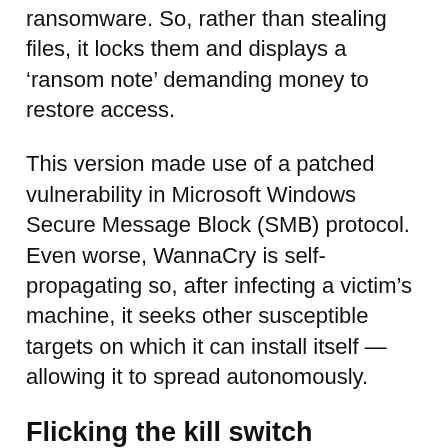ransomware. So, rather than stealing files, it locks them and displays a ‘ransom note’ demanding money to restore access.
This version made use of a patched vulnerability in Microsoft Windows Secure Message Block (SMB) protocol. Even worse, WannaCry is self-propagating so, after infecting a victim’s machine, it seeks other susceptible targets on which it can install itself — allowing it to spread autonomously.
Flicking the kill switch
Researchers discovered that the